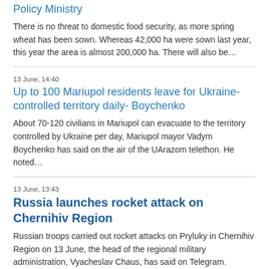Policy Ministry
There is no threat to domestic food security, as more spring wheat has been sown. Whereas 42,000 ha were sown last year, this year the area is almost 200,000 ha. There will also be…
13 June, 14:40
Up to 100 Mariupol residents leave for Ukraine-controlled territory daily- Boychenko
About 70-120 civilians in Mariupol can evacuate to the territory controlled by Ukraine per day, Mariupol mayor Vadym Boychenko has said on the air of the UArazom telethon. He noted…
13 June, 13:43
Russia launches rocket attack on Chernihiv Region
Russian troops carried out rocket attacks on Pryluky in Chernihiv Region on 13 June, the head of the regional military administration, Vyacheslav Chaus, has said on Telegram. Three…
13 June, 13:14